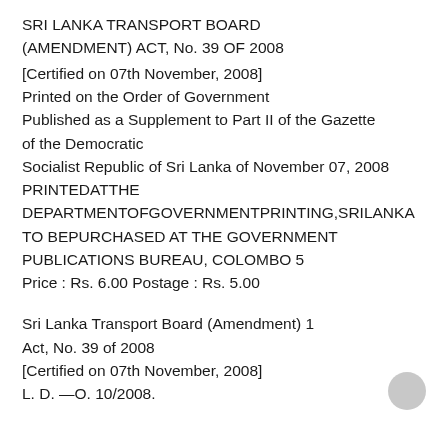SRI LANKA TRANSPORT BOARD (AMENDMENT) ACT, No. 39 OF 2008
[Certified on 07th November, 2008]
Printed on the Order of Government
Published as a Supplement to Part II of the Gazette of the Democratic
Socialist Republic of Sri Lanka of November 07, 2008
PRINTEDATTHE DEPARTMENTOFGOVERNMENTPRINTING,SRILANKA
TO BEPURCHASED AT THE GOVERNMENT PUBLICATIONS BUREAU, COLOMBO 5
Price : Rs. 6.00 Postage : Rs. 5.00
Sri Lanka Transport Board (Amendment) 1
Act, No. 39 of 2008
[Certified on 07th November, 2008]
L. D. —O. 10/2008.